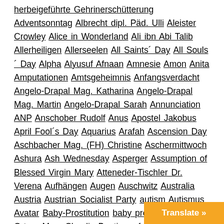herbeigeführte Gehrinerschütterung Adventsonntag Albrecht dipl. Päd. Ulli Aleister Crowley Alice in Wonderland Ali ibn Abi Talib Allerheiligen Allerseelen All Saints´ Day All Souls´ Day Alpha Alyusuf Afnaan Amnesie Amon Anita Amputationen Amtsgeheimnis Anfangsverdacht Angelo-Drapal Mag. Katharina Angelo-Drapal Mag. Martin Angelo-Drapal Sarah Annunciation ANP Anschober Rudolf Anus Apostel Jakobus April Fool´s Day Aquarius Arafah Ascension Day Aschbacher Mag. (FH) Christine Aschermittwoch Ashura Ash Wednesday Asperger Assumption of Blessed Virgin Mary Atteneder-Tischler Dr. Verena Aufhängen Augen Auschwitz Australia Austria Austrian Socialist Party autism Autismus Avatar Baby-Prostitution baby prostitute Bandion-Ortner Mag. Claudia Baptism of the Lord Barker Kerth Barthholomay Ernest Bartl Dr. med. Gustav jun. Bartl Mag. Irmgard Bartl Mag. Nicole Bartl Prof. Dr. med. Gustav sen. basements Bauch Becken Before the Rain Befragung Beinahe-Ersticken Beister Dr. Hartmut Beltai
Translate »